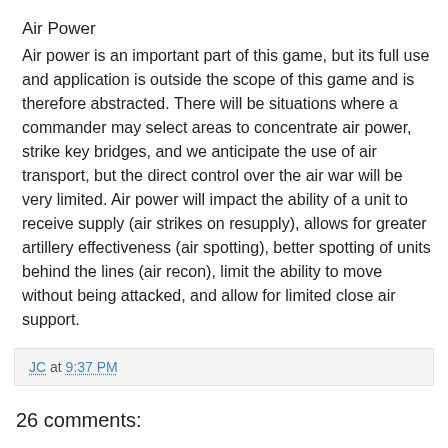Air Power
Air power is an important part of this game, but its full use and application is outside the scope of this game and is therefore abstracted. There will be situations where a commander may select areas to concentrate air power, strike key bridges, and we anticipate the use of air transport, but the direct control over the air war will be very limited. Air power will impact the ability of a unit to receive supply (air strikes on resupply), allows for greater artillery effectiveness (air spotting), better spotting of units behind the lines (air recon), limit the ability to move without being attacked, and allow for limited close air support.
JC at 9:37 PM
26 comments: